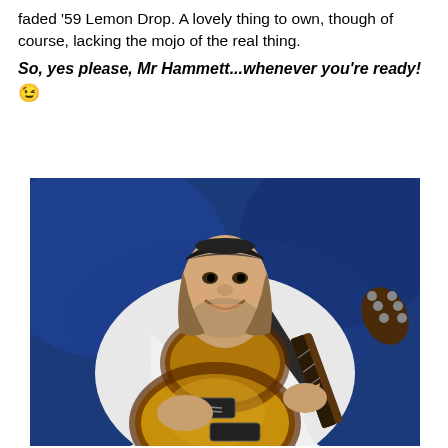faded '59 Lemon Drop. A lovely thing to own, though of course, lacking the mojo of the real thing.
So, yes please, Mr Hammett...whenever you're ready! 😉
[Figure (photo): A heavyset man with shoulder-length hair wearing a dark bandana on his head and a white short-sleeve shirt, playing a vintage sunburst Les Paul-style electric guitar with a dark strap, smiling at the camera against a blue background.]